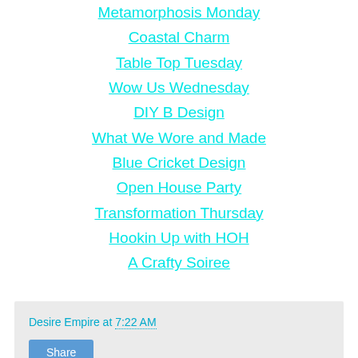Metamorphosis Monday
Coastal Charm
Table Top Tuesday
Wow Us Wednesday
DIY B Design
What We Wore and Made
Blue Cricket Design
Open House Party
Transformation Thursday
Hookin Up with HOH
A Crafty Soiree
Desire Empire at 7:22 AM
Share
23 comments: